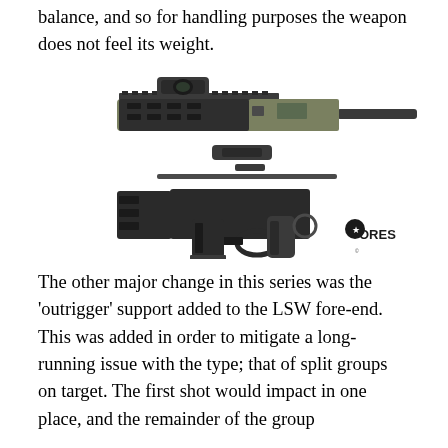balance, and so for handling purposes the weapon does not feel its weight.
[Figure (photo): Disassembled bullpup rifle (LSW) shown in exploded view with upper receiver/barrel assembly, bolt carrier, cleaning rod, lower receiver with pistol grip and folding stock, and detachable box magazine. ORES logo visible bottom right.]
The other major change in this series was the ‘outrigger’ support added to the LSW fore-end. This was added in order to mitigate a long-running issue with the type; that of split groups on target. The first shot would impact in one place, and the remainder of the group